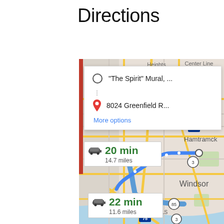Directions
[Figure (map): Google Maps screenshot showing driving directions from 'The Spirit' Mural to 8024 Greenfield R... in the Detroit/Hamtramck/Windsor area. Two route options shown: 20 min / 14.7 miles and 22 min / 11.6 miles. Map shows I-75, I-94, route 3, route 85, neighborhoods including Hamtramck, Windsor, Springwells, Heights, Center Line, Osb, and Conner. A blue route line is highlighted on the map.]